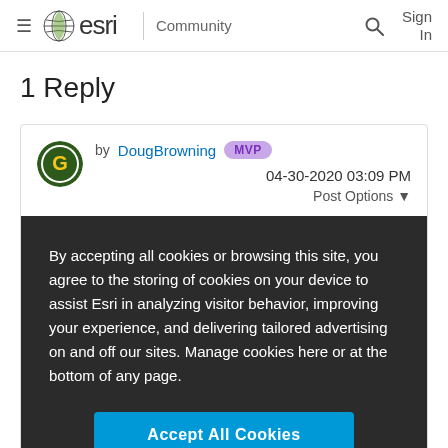≡ esri | Community   🔍   Sign In
1 Reply
by DougBrowning MVP   04-30-2020 03:09 PM
Post Options ▼
By accepting all cookies or browsing this site, you agree to the storing of cookies on your device to assist Esri in analyzing visitor behavior, improving your experience, and delivering tailored advertising on and off our sites. Manage cookies here or at the bottom of any page.
Accept All Cookies